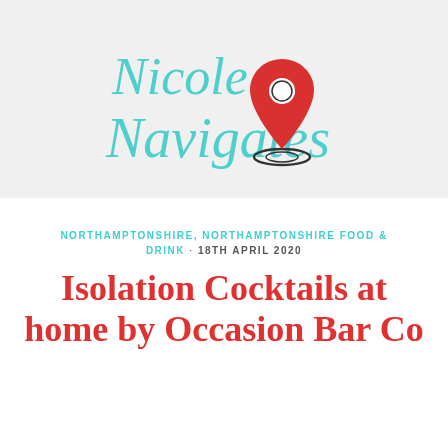[Figure (logo): Nicole Navigates logo — cursive teal script text 'Nicole Navigates' with a red map pin icon overlapping the letters, on a light grey background.]
NORTHAMPTONSHIRE, NORTHAMPTONSHIRE FOOD & DRINK · 18TH APRIL 2020
Isolation Cocktails at home by Occasion Bar Co